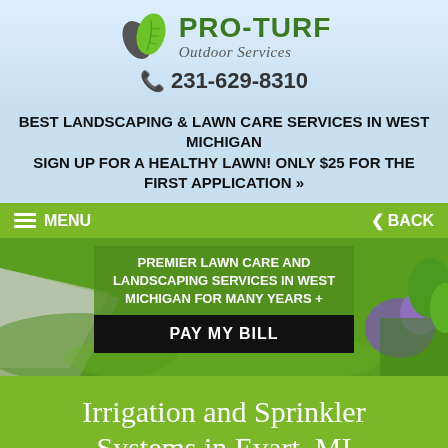[Figure (logo): Pro-Turf Outdoor Services logo with green leaf icon and brand name]
231-629-8310
BEST LANDSCAPING & LAWN CARE SERVICES IN WEST MICHIGAN SIGN UP FOR A HEALTHY LAWN! ONLY $25 FOR THE FIRST APPLICATION »
[Figure (screenshot): Website screenshot showing lawn care hero image with green navigation bar with MENU and BACK buttons, overlay text PREMIER LAWN CARE AND LANDSCAPING SERVICES IN WEST MICHIGAN FOR MANY YEARS, and PAY MY BILL black button]
Irrigation and Sprinkler Systems in Evart, MI